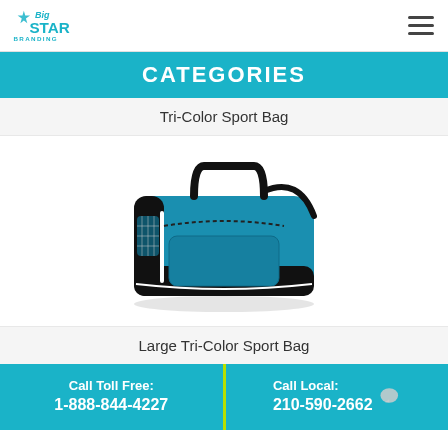[Figure (logo): Big Star Branding logo in teal/cyan with stylized star and text]
CATEGORIES
Tri-Color Sport Bag
[Figure (photo): A tri-color sport duffel bag in blue and black with white accent stripes and carrying handles]
Large Tri-Color Sport Bag
Call Toll Free: 1-888-844-4227 | Call Local: 210-590-2662